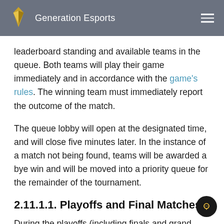Generation Esports
leaderboard standing and available teams in the queue. Both teams will play their game immediately and in accordance with the game's rules. The winning team must immediately report the outcome of the match.
The queue lobby will open at the designated time, and will close five minutes later. In the instance of a match not being found, teams will be awarded a bye win and will be moved into a priority queue for the remainder of the tournament.
2.11.1.1. Playoffs and Final Matches
During the playoffs (including finals and grand